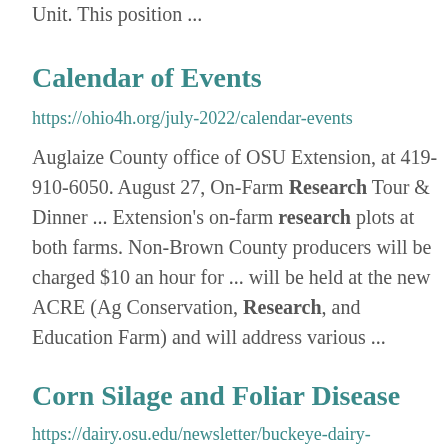Unit. This position ...
Calendar of Events
https://ohio4h.org/july-2022/calendar-events
Auglaize County office of OSU Extension, at 419-910-6050. August 27, On-Farm Research Tour & Dinner ... Extension's on-farm research plots at both farms. Non-Brown County producers will be charged $10 an hour for ... will be held at the new ACRE (Ag Conservation, Research, and Education Farm) and will address various ...
Corn Silage and Foliar Disease
https://dairy.osu.edu/newsletter/buckeye-dairy-